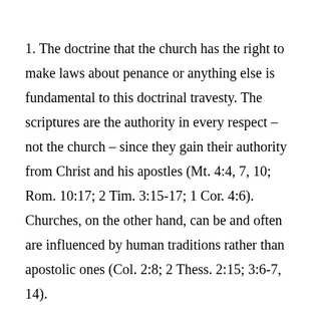1. The doctrine that the church has the right to make laws about penance or anything else is fundamental to this doctrinal travesty. The scriptures are the authority in every respect – not the church – since they gain their authority from Christ and his apostles (Mt. 4:4, 7, 10; Rom. 10:17; 2 Tim. 3:15-17; 1 Cor. 4:6). Churches, on the other hand, can be and often are influenced by human traditions rather than apostolic ones (Col. 2:8; 2 Thess. 2:15; 3:6-7, 14).